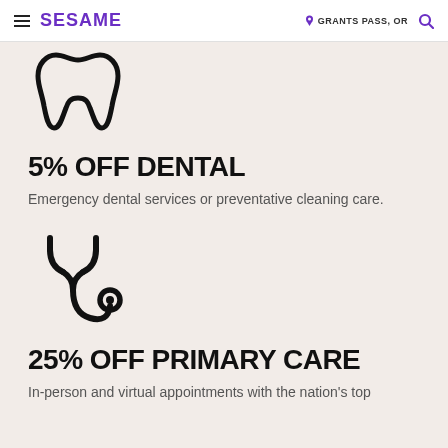SESAME | GRANTS PASS, OR
[Figure (illustration): Tooth icon in black outline style]
5% OFF DENTAL
Emergency dental services or preventative cleaning care.
[Figure (illustration): Stethoscope icon in black outline style]
25% OFF PRIMARY CARE
In-person and virtual appointments with the nation's top